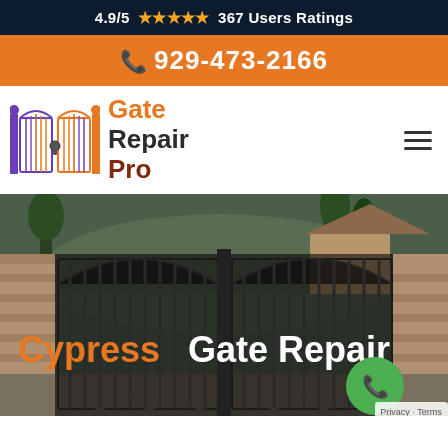4.9/5 ★★★★★ 367 Users Ratings
929-473-2166
[Figure (logo): Gate Repair Pro logo with orange and purple gate icon and text 'Gate Repair Pro']
[Figure (photo): Hero image showing ornate wrought iron double gate open, stone pillars, trees and a house in background. Overlay text reads 'Cypress Gate Repair' with a green phone call button circle.]